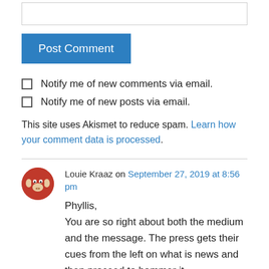[Figure (other): Empty text input box (comment field)]
Post Comment
Notify me of new comments via email.
Notify me of new posts via email.
This site uses Akismet to reduce spam. Learn how your comment data is processed.
Louie Kraaz on September 27, 2019 at 8:56 pm
Phyllis,
You are so right about both the medium and the message. The press gets their cues from the left on what is news and then proceed to hammer it